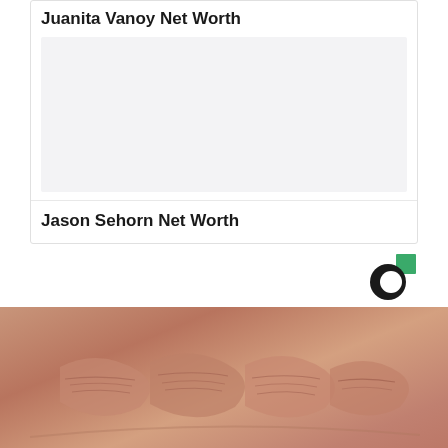Juanita Vanoy Net Worth
[Figure (photo): Blank/placeholder image area for Juanita Vanoy Net Worth article]
Jason Sehorn Net Worth
[Figure (logo): Circular C logo with green square accent - media brand logo]
[Figure (photo): Close-up photograph of wrinkled elderly skin, knuckles/hands]